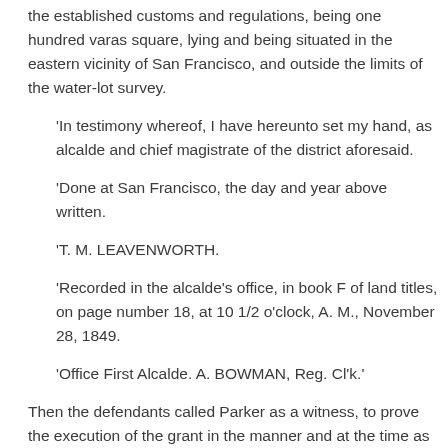the established customs and regulations, being one hundred varas square, lying and being situated in the eastern vicinity of San Francisco, and outside the limits of the water-lot survey.
'In testimony whereof, I have hereunto set my hand, as alcalde and chief magistrate of the district aforesaid.
'Done at San Francisco, the day and year above written.
'T. M. LEAVENWORTH.
'Recorded in the alcalde's office, in book F of land titles, on page number 18, at 10 1/2 o'clock, A. M., November 28, 1849.
'Office First Alcalde. A. BOWMAN, Reg. Cl'k.'
Then the defendants called Parker as a witness, to prove the execution of the grant in the manner and at the time as has